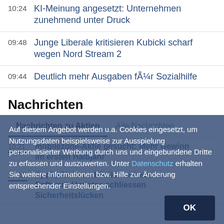10:24 | KI-Meinung angesetzt: Unternehmen zunehmend unter Druck
09:48 | Junge Liberale kritisieren Kubicki scharf wegen Nord Stream 2
09:44 | Deutlich mehr Ausgaben für Sozialhilfe
Nachrichten
Nachrichten zu Aktien | Alle Nachrichten
10:21 | mobilezone-Aktie gesucht: Mehr Gewinn im ersten Halbjahr
10:19 | Apple-Aktie vorböslich schwacher: Software-Updates schliessen Sicherheitslücken
Auf diesem Angebot werden u.a. Cookies eingesetzt, um Nutzungsdaten beispielsweise zur Ausspielung personalisierter Werbung durch uns und eingebundene Dritte zu erfassen und auszuwerten. Unter Datenschutz erhalten Sie weitere Informationen bzw. Hilfe zur Änderung entsprechender Einstellungen.
OK